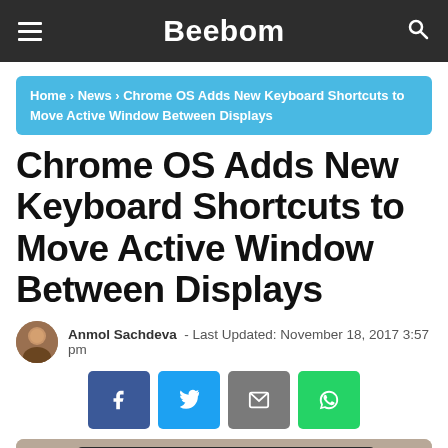Beebom
Home › News › Chrome OS Adds New Keyboard Shortcuts to Move Active Window Between Displays
Chrome OS Adds New Keyboard Shortcuts to Move Active Window Between Displays
Anmol Sachdeva  -  Last Updated: November 18, 2017 3:57 pm
[Figure (infographic): Social share buttons: Facebook, Twitter, Email, WhatsApp]
[Figure (photo): Article lead image showing a display/screen setup]